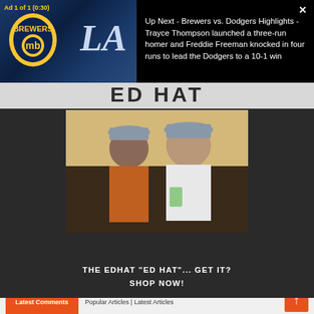[Figure (screenshot): Video ad overlay showing Brewers vs Dodgers baseball game thumbnail on left, with 'Up Next' text description on right. Ad label 'Ad 1 of 1 (0:30)' in yellow top-left, close X button top-right.]
Up Next - Brewers vs. Dodgers Highlights - Trayce Thompson launched a three-run homer and Freddie Freeman knocked in four runs to lead the Dodgers to a 10-1 win
[Figure (screenshot): Advertisement for Edhat 'ED HAT' product showing two people wearing gray baseball caps sitting outdoors. Text reads: THE EDHAT "ED HAT"... GET IT? SHOP NOW!]
THE EDHAT "ED HAT"... GET IT? SHOP NOW!
[Figure (screenshot): Bottom navigation bar with orange 'Latest Comments' button and 'Popular Articles | Latest Articles' text. Orange scroll-to-top arrow button on right.]